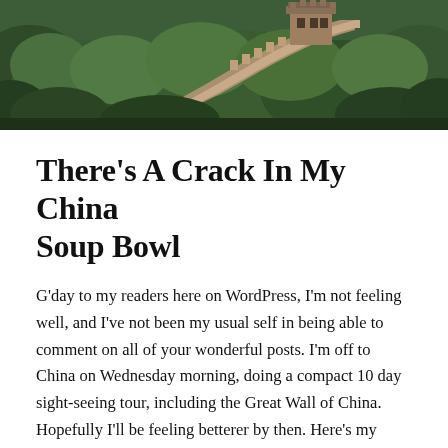[Figure (photo): Aerial or elevated view of the Great Wall of China winding through lush green forested hills, with stone watchtower visible.]
There’s A Crack In My China Soup Bowl
G’day to my readers here on WordPress, I’m not feeling well, and I’ve not been my usual self in being able to comment on all of your wonderful posts. I’m off to China on Wednesday morning, doing a compact 10 day sight-seeing tour, including the Great Wall of China. Hopefully I’ll be feeling betterer by then. Here’s my poem for today. I’d like to thank Kate of “Calmkate’, for the use of her words, “rank dank muddy waters”, which were basically the inspiration behind my gloomy poem, “There’s a Crack In My China Soup Bowl”, and also thanks to “Stella”, for giving me the idea for the Title of this poem.